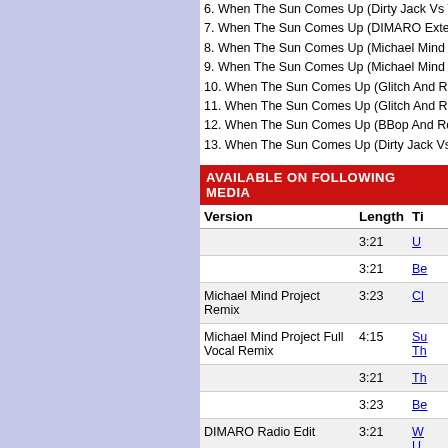6. When The Sun Comes Up (Dirty Jack Vs Van...
7. When The Sun Comes Up (DIMARO Extende...
8. When The Sun Comes Up (Michael Mind Proj...
9. When The Sun Comes Up (Michael Mind Proj...
10. When The Sun Comes Up (Glitch And Repeat...
11. When The Sun Comes Up (Glitch And Repeat...
12. When The Sun Comes Up (BBop And Rockst...
13. When The Sun Comes Up (Dirty Jack Vs Van...
AVAILABLE ON FOLLOWING MEDIA
| Version | Length | Ti... |
| --- | --- | --- |
|  | 3:21 | U... |
|  | 3:21 | Be... |
| Michael Mind Project Remix | 3:23 | Cl... |
| Michael Mind Project Full Vocal Remix | 4:15 | Su... Th... |
|  | 3:21 | Th... |
|  | 3:23 | Be... |
| DIMARO Radio Edit | 3:21 | W... U... |
| Michael Mind Project Full On Vocal Remix Edit | 3:22 | W... U... |
| Michael Mind Radio Edit | 3:14 | W... U... |